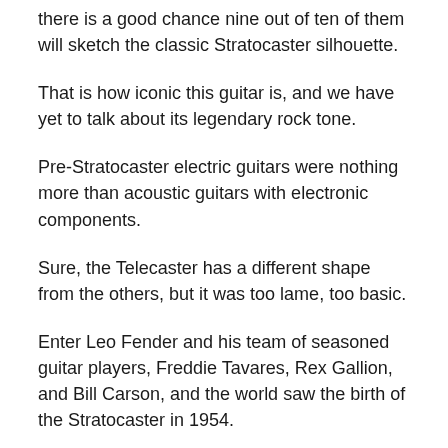there is a good chance nine out of ten of them will sketch the classic Stratocaster silhouette.
That is how iconic this guitar is, and we have yet to talk about its legendary rock tone.
Pre-Stratocaster electric guitars were nothing more than acoustic guitars with electronic components.
Sure, the Telecaster has a different shape from the others, but it was too lame, too basic.
Enter Leo Fender and his team of seasoned guitar players, Freddie Tavares, Rex Gallion, and Bill Carson, and the world saw the birth of the Stratocaster in 1954.
However, it took the Strat several years to gain the respect